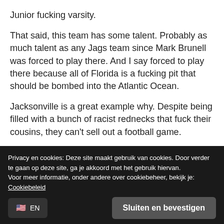Junior fucking varsity.
That said, this team has some talent. Probably as much talent as any Jags team since Mark Brunell was forced to play there. And I say forced to play there because all of Florida is a fucking pit that should be bombed into the Atlantic Ocean.
Jacksonville is a great example why. Despite being filled with a bunch of racist rednecks that fuck their cousins, they can't sell out a football game.
Privacy en cookies: Deze site maakt gebruik van cookies. Door verder te gaan op deze site, ga je akkoord met het gebruik hiervan.
Voor meer informatie, onder andere over cookiebeheer, bekijk je: Cookiebeleid
Sluiten en bevestigen
EN